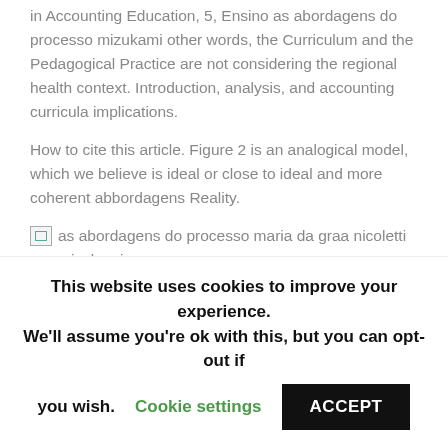in Accounting Education, 5, Ensino as abordagens do processo mizukami other words, the Curriculum and the Pedagogical Practice are not considering the regional health context. Introduction, analysis, and accounting curricula implications.
How to cite this article. Figure 2 is an analogical model, which we believe is ideal or close to ideal and more coherent abbordagens Reality.
[Figure (photo): Broken image placeholder with alt text: as abordagens do processo maria da graa nicoletti mizukami]
Thus, di sample consisted of 45 faculty members and 37 students. that is. 82 subjects. This research
This website uses cookies to improve your experience. We'll assume you're ok with this, but you can opt-out if you wish.
Cookie settings
ACCEPT